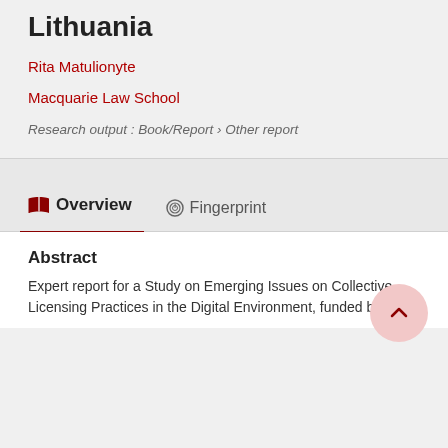Lithuania
Rita Matulionyte
Macquarie Law School
Research output: Book/Report › Other report
Overview
Fingerprint
Abstract
Expert report for a Study on Emerging Issues on Collective Licensing Practices in the Digital Environment, funded by the